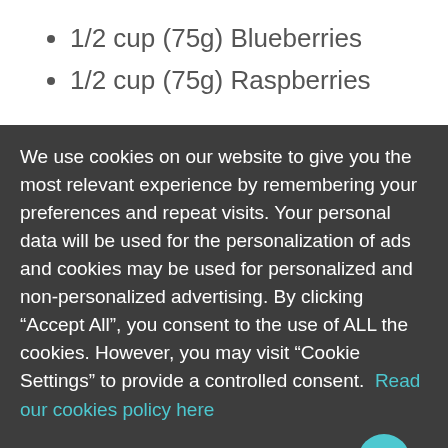1/2 cup (75g) Blueberries
1/2 cup (75g) Raspberries
We use cookies on our website to give you the most relevant experience by remembering your preferences and repeat visits. Your personal data will be used for the personalization of ads and cookies may be used for personalized and non-personalized advertising. By clicking “Accept All”, you consent to the use of ALL the cookies. However, you may visit “Cookie Settings” to provide a controlled consent.  Read our cookies policy here
GOT IT